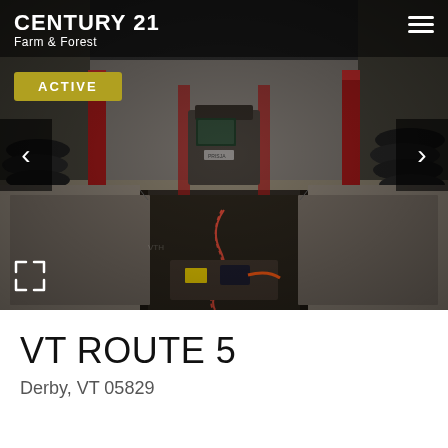[Figure (photo): Interior of an auto repair garage / tire shop showing a vehicle lift pit in the center floor, tire stacks on the right, red metal columns, and various machinery. Viewed from the entrance looking inward.]
VT ROUTE 5
Derby, VT 05829